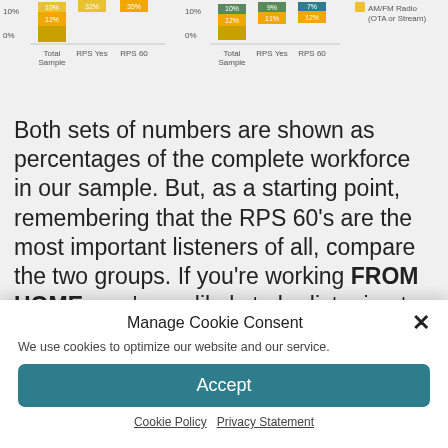[Figure (stacked-bar-chart): Two stacked bar chart groups showing percentages for Total Sample, RPS Yes, RPS 60]
[Figure (stacked-bar-chart): Two stacked bar chart groups showing percentages for Total Sample, RPS Yes, RPS 60 with AM/FM Radio legend]
Both sets of numbers are shown as percentages of the complete workforce in our sample. But, as a starting point, remembering that the RPS 60's are the most important listeners of all, compare the two groups. If you're working FROM HOME, you're as likely to be listening to some content OTHER THAN AM/FM while
Manage Cookie Consent
We use cookies to optimize our website and our service.
Accept
Cookie Policy   Privacy Statement